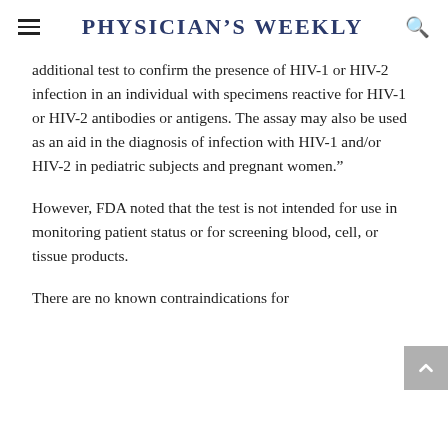Physician's Weekly
additional test to confirm the presence of HIV-1 or HIV-2 infection in an individual with specimens reactive for HIV-1 or HIV-2 antibodies or antigens. The assay may also be used as an aid in the diagnosis of infection with HIV-1 and/or HIV-2 in pediatric subjects and pregnant women.”
However, FDA noted that the test is not intended for use in monitoring patient status or for screening blood, cell, or tissue products.
There are no known contraindications for